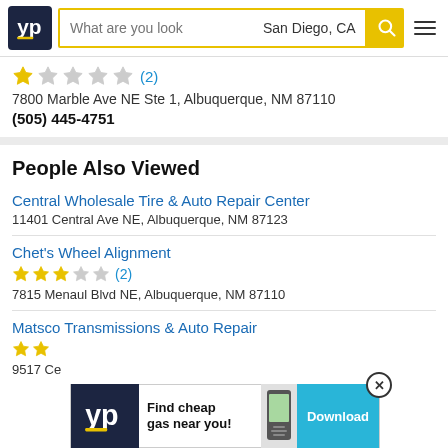[Figure (screenshot): Yellow Pages (YP) website header with logo, search bar showing 'What are you look' placeholder and 'San Diego, CA' location, yellow search button with magnifier icon, and hamburger menu icon]
(2)
7800 Marble Ave NE Ste 1, Albuquerque, NM 87110
(505) 445-4751
People Also Viewed
Central Wholesale Tire & Auto Repair Center
11401 Central Ave NE, Albuquerque, NM 87123
Chet's Wheel Alignment
(2)
7815 Menaul Blvd NE, Albuquerque, NM 87110
Matsco Transmissions & Auto Repair
9517 Ce...
[Figure (screenshot): YP app advertisement banner: 'Find cheap gas near you!' with Download button, phone image, and close button]